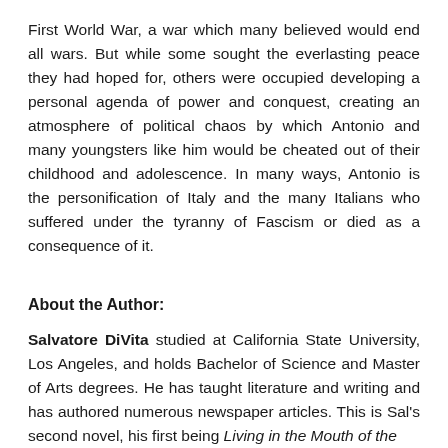First World War, a war which many believed would end all wars. But while some sought the everlasting peace they had hoped for, others were occupied developing a personal agenda of power and conquest, creating an atmosphere of political chaos by which Antonio and many youngsters like him would be cheated out of their childhood and adolescence. In many ways, Antonio is the personification of Italy and the many Italians who suffered under the tyranny of Fascism or died as a consequence of it.
About the Author:
Salvatore DiVita studied at California State University, Los Angeles, and holds Bachelor of Science and Master of Arts degrees. He has taught literature and writing and has authored numerous newspaper articles. This is Sal's second novel, his first being Living in the Mouth of the